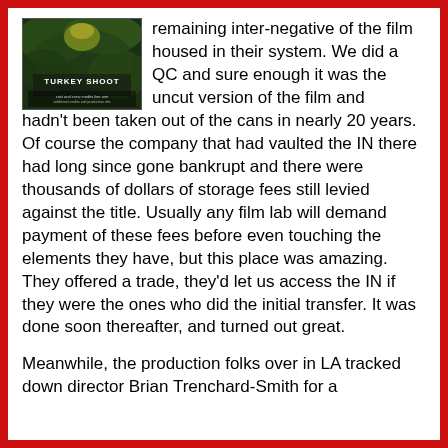[Figure (photo): Movie poster/cover image for 'Turkey Shoot' with dark green jungle theme and small text credits]
remaining inter-negative of the film housed in their system.  We did a QC and sure enough it was the uncut version of the film and hadn't been taken out of the cans in nearly 20 years.  Of course the company that had vaulted the IN there had long since gone bankrupt and there were thousands of dollars of storage fees still levied against the title.  Usually any film lab will demand payment of these fees before even touching the elements they have, but this place was amazing.  They offered a trade, they'd let us access the IN if they were the ones who did the initial transfer.  It was done soon thereafter, and turned out great.

Meanwhile, the production folks over in LA tracked down director Brian Trenchard-Smith for a